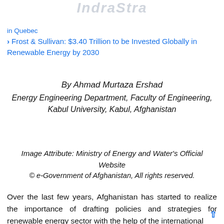IndraStra
in Quebec
Frost & Sullivan: $3.40 Trillion to be Invested Globally in Renewable Energy by 2030
By Ahmad Murtaza Ershad
Energy Engineering Department, Faculty of Engineering, Kabul University, Kabul, Afghanistan
Image Attribute: Ministry of Energy and Water's Official Website
© e-Government of Afghanistan, All rights reserved.
Over the last few years, Afghanistan has started to realize the importance of drafting policies and strategies for renewable energy sector with the help of the international